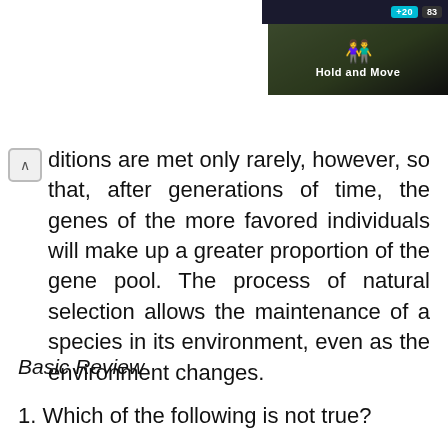[Figure (screenshot): App UI header showing a nature/landscape image with a dark overlay UI bar showing score indicators '+20' and '83', icons of people, and a 'Hold and Move' label in white text on dark background.]
ditions are met only rarely, however, so that, after generations of time, the genes of the more favored individuals will make up a greater proportion of the gene pool. The process of natural selection allows the maintenance of a species in its environment, even as the environment changes.
Basic Review
1. Which of the following is not true?